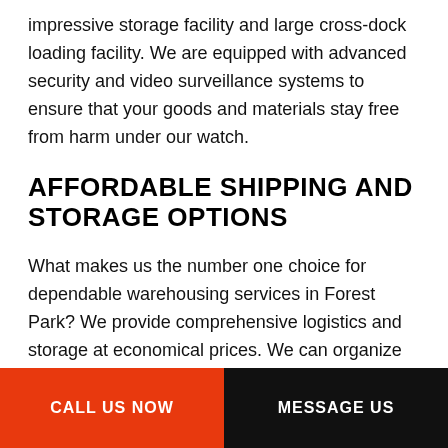impressive storage facility and large cross-dock loading facility. We are equipped with advanced security and video surveillance systems to ensure that your goods and materials stay free from harm under our watch.
AFFORDABLE SHIPPING AND STORAGE OPTIONS
What makes us the number one choice for dependable warehousing services in Forest Park? We provide comprehensive logistics and storage at economical prices. We can organize your shipments and store your cargo for extended periods at a rate that will not hurt your bottom line.
CALL US NOW | MESSAGE US